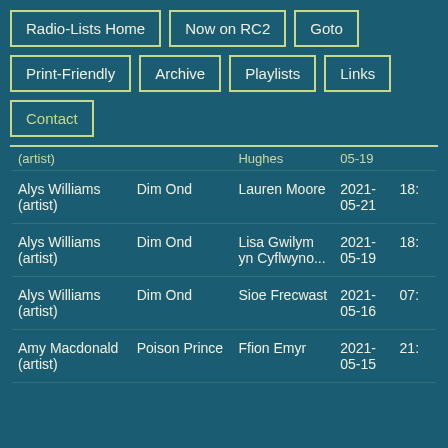Radio-Lists Home
Now on RC2
Goto
Print-Friendly
Archive
Playlists
Links
Contact
| (artist) |  | Hughes | 05-19 |
| --- | --- | --- | --- |
| Alys Williams (artist) | Dim Ond | Lauren Moore | 2021-05-21 | 18: |
| Alys Williams (artist) | Dim Ond | Lisa Gwilym yn Cyflwyno... | 2021-05-19 | 18: |
| Alys Williams (artist) | Dim Ond | Sioe Frecwast | 2021-05-16 | 07: |
| Amy Macdonald (artist) | Poison Prince | Ffion Emyr | 2021-05-15 | 21: |